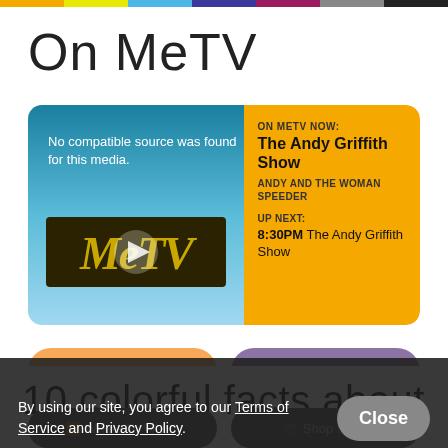On MeTV
[Figure (screenshot): MeTV video player showing 'No compatible source was found for this media.' with MeTV logo overlay and play button]
ON METV NOW: The Andy Griffith Show ANDY AND THE WOMAN SPEEDER UP NEXT: 8:30PM The Andy Griffith Show
Full Schedule ›
Where to Watch ›
By using our site, you agree to our Terms of Service and Privacy Policy.
Close
Where To Watch
Shop Store
10 colorful facts about